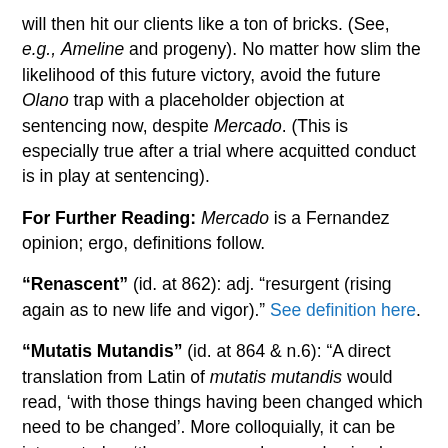will then hit our clients like a ton of bricks. (See, e.g., Ameline and progeny). No matter how slim the likelihood of this future victory, avoid the future Olano trap with a placeholder objection at sentencing now, despite Mercado. (This is especially true after a trial where acquitted conduct is in play at sentencing).
For Further Reading: Mercado is a Fernandez opinion; ergo, definitions follow.
“Renascent” (id. at 862): adj. “resurgent (rising again as to new life and vigor).” See definition here.
“Mutatis Mutandis” (id. at 864 & n.6): “A direct translation from Latin of mutatis mutandis would read, ‘with those things having been changed which need to be changed’. More colloquially, it can be interpreted as ‘the necessary changes having been made,’ where ‘the necessary changes’ are usually implied by a prior statement assumed to be understood by the reader. It carries the connotation that the reader should pay attention to the corresponding differences between the current statement and a previous one, although